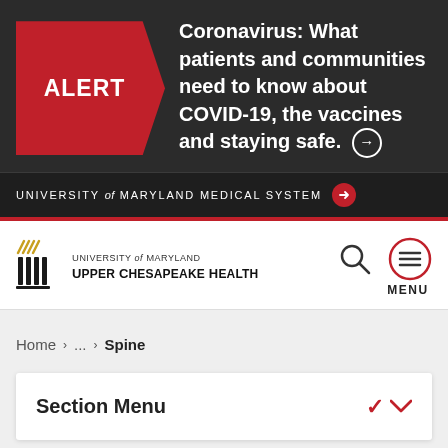[Figure (screenshot): Alert banner with red ALERT label and COVID-19 message on dark background]
Coronavirus: What patients and communities need to know about COVID-19, the vaccines and staying safe. →
UNIVERSITY of MARYLAND MEDICAL SYSTEM →
[Figure (logo): University of Maryland Upper Chesapeake Health logo with columns icon]
UNIVERSITY of MARYLAND
UPPER CHESAPEAKE HEALTH
MENU
Home > ... > Spine
Section Menu